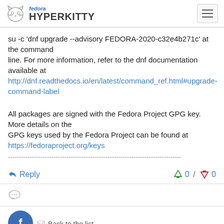fedora HYPERKITTY
su -c 'dnf upgrade --advisory FEDORA-2020-c32e4b271c' at the command
line. For more information, refer to the dnf documentation available at
http://dnf.readthedocs.io/en/latest/command_ref.html#upgrade-command-label
All packages are signed with the Fedora Project GPG key. More details on the
GPG keys used by the Fedora Project can be found at
https://fedoraproject.org/keys
--------------------------------------------------------------------------------
Reply   0 / 0
[Figure (other): Comment/speech bubble icon]
Back to the list
[Figure (logo): Fedora project circular badge logo]